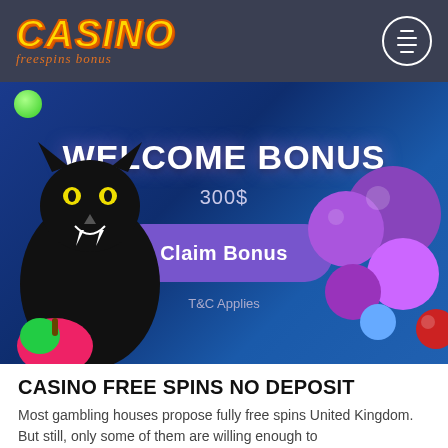CASINO freespins bonus
[Figure (illustration): Casino welcome bonus banner with black panther, colorful bubbles/balls, and blue gradient background. Shows 'WELCOME BONUS 300$' with a purple 'Claim Bonus' button.]
CASINO FREE SPINS NO DEPOSIT
Most gambling houses propose fully free spins United Kingdom. But still, only some of them are willing enough to